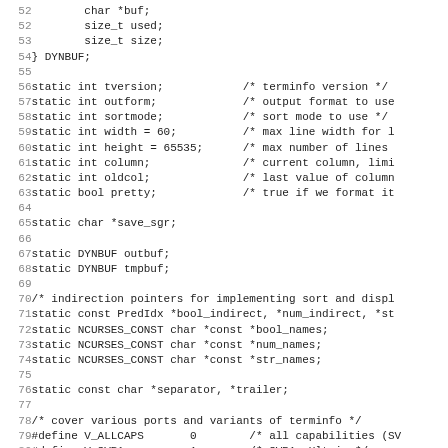Source code listing lines 52-83 showing C variable declarations and define macros for a terminfo utility